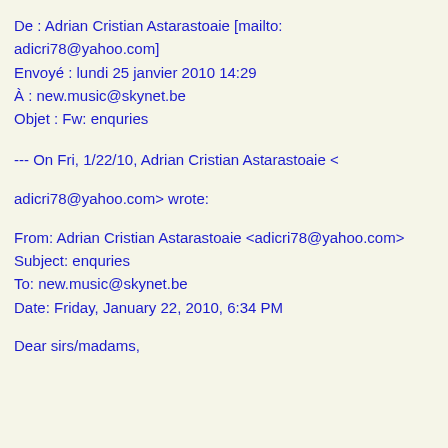De : Adrian Cristian Astarastoaie [mailto: adicri78@yahoo.com]
Envoyé : lundi 25 janvier 2010 14:29
À : new.music@skynet.be
Objet : Fw: enquries
--- On Fri, 1/22/10, Adrian Cristian Astarastoaie <adicri78@yahoo.com> wrote:
From: Adrian Cristian Astarastoaie <adicri78@yahoo.com>
Subject: enquries
To: new.music@skynet.be
Date: Friday, January 22, 2010, 6:34 PM
Dear sirs/madams,